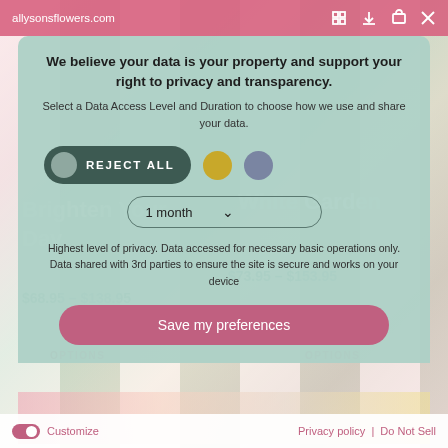allysonsflowers.com
We believe your data is your property and support your right to privacy and transparency.
Select a Data Access Level and Duration to choose how we use and share your data.
REJECT ALL
1 month
Highest level of privacy. Data accessed for necessary basic operations only. Data shared with 3rd parties to ensure the site is secure and works on your device
Save my preferences
Customize
Privacy policy  |  Do Not Sell